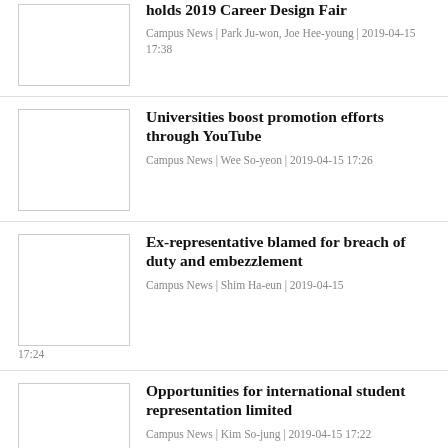holds 2019 Career Design Fair
Campus News | Park Ju-won, Joe Hee-young | 2019-04-15 17:38
Universities boost promotion efforts through YouTube
Campus News | Wee So-yeon | 2019-04-15 17:26
Ex-representative blamed for breach of duty and embezzlement
Campus News | Shim Ha-eun | 2019-04-15 17:24
Opportunities for international student representation limited
Campus News | Kim So-jung | 2019-04-15 17:22
Next steps after the 2019 Student Voting